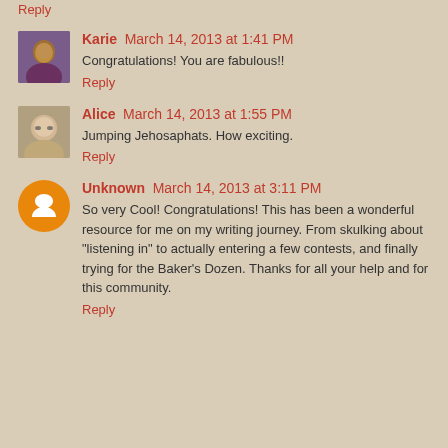Reply
Karie  March 14, 2013 at 1:41 PM
Congratulations! You are fabulous!!
Reply
Alice  March 14, 2013 at 1:55 PM
Jumping Jehosaphats. How exciting.
Reply
Unknown  March 14, 2013 at 3:11 PM
So very Cool! Congratulations! This has been a wonderful resource for me on my writing journey. From skulking about "listening in" to actually entering a few contests, and finally trying for the Baker's Dozen. Thanks for all your help and for this community.
Reply